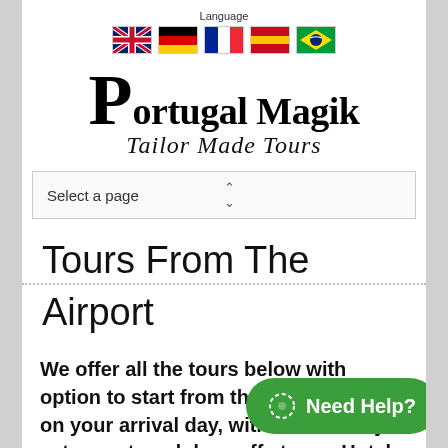Language
[Figure (illustration): Language flags: UK, Germany, France, Spain, Brazil]
[Figure (logo): Portugal Magik Tailor Made Tours logo]
Select a page
Tours From The Airport
We offer all the tours below with option to start from the Lisbon Airport on your arrival day, with 35EUR only extra cost, and drop-off at your Hotel, Sintra or Cascais. These services are provided on request, and
[Figure (other): Need Help? green button with icon]